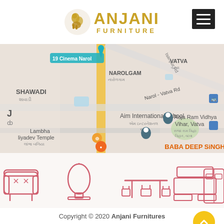[Figure (logo): Anjani Furniture logo with golden horse icon and text ANJANI FURNITURE]
[Figure (map): Google Maps screenshot showing Narolgam area with landmarks: 19 Cinema Narol, SHAWADI, Aim International School, Lambha Liyadev Temple, Raja Ram Vidhya Vihar Vatva, BABA DEEP SINGH, Narol-Vatva Rd, VATVA]
[Figure (illustration): Pink outline furniture icons: armchair, dressing mirror, dining table with chairs, TV unit/cabinet, wardrobe]
Copyright © 2020 Anjani Furnitures